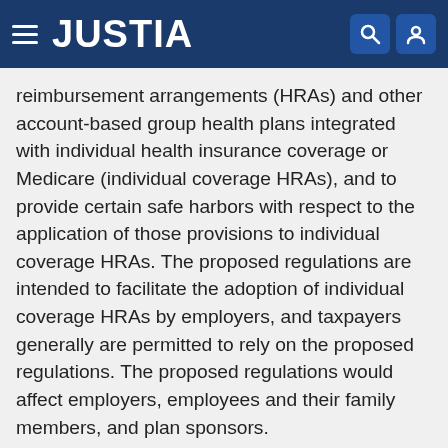JUSTIA
reimbursement arrangements (HRAs) and other account-based group health plans integrated with individual health insurance coverage or Medicare (individual coverage HRAs), and to provide certain safe harbors with respect to the application of those provisions to individual coverage HRAs. The proposed regulations are intended to facilitate the adoption of individual coverage HRAs by employers, and taxpayers generally are permitted to rely on the proposed regulations. The proposed regulations would affect employers, employees and their family members, and plan sponsors.
https://regulations.justia.com/regulations/fedreg/2019/09/30/2019-20034.html
Appointment of Members of the Legal Division to the